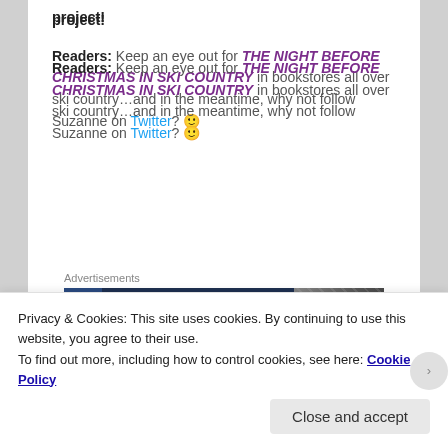project!
Readers: Keep an eye out for THE NIGHT BEFORE CHRISTMAS IN SKI COUNTRY in bookstores all over ski country…and in the meantime, why not follow Suzanne on Twitter? 🙂
[Figure (screenshot): Advertisement banner for WordPress Hosting with dark blue background and white bold text, with a partial car photo on the right side.]
Privacy & Cookies: This site uses cookies. By continuing to use this website, you agree to their use.
To find out more, including how to control cookies, see here: Cookie Policy
Close and accept